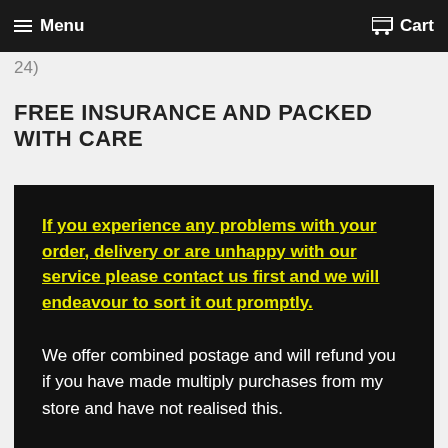Menu   Cart
24)
FREE INSURANCE AND PACKED WITH CARE
If you experience any problems with your order, delivery or are unhappy with our service please contact us first and we will endeavour to sort it out promptly.
We offer combined postage and will refund you if you have made multiply purchases from my store and have not realised this.